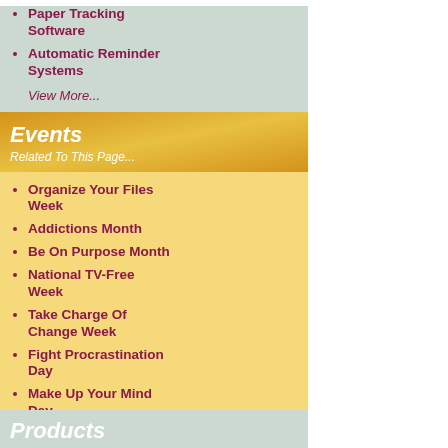Paper Tracking Software
Automatic Reminder Systems
View More...
Events
Related To This Page...
Organize Your Files Week
Addictions Month
Be On Purpose Month
National TV-Free Week
Take Charge Of Change Week
Fight Procrastination Day
Make Up Your Mind Day
Revise Your Work Schedule Month
Pursuit Of Happiness Week
Self-Improvement Month
View More...
Products